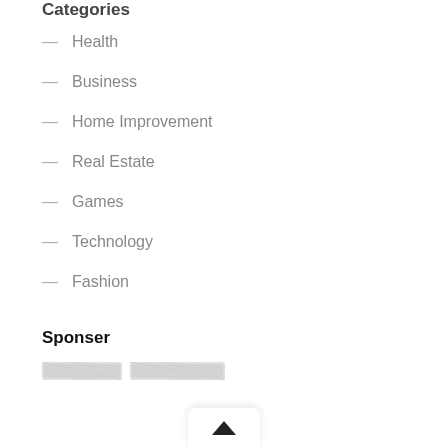Categories
— Health
— Business
— Home Improvement
— Real Estate
— Games
— Technology
— Fashion
Sponser
[Figure (other): Sponsor placeholder image blocks (two grey redacted image placeholders)]
[Figure (other): Scroll-to-top button with upward arrow triangle icon]